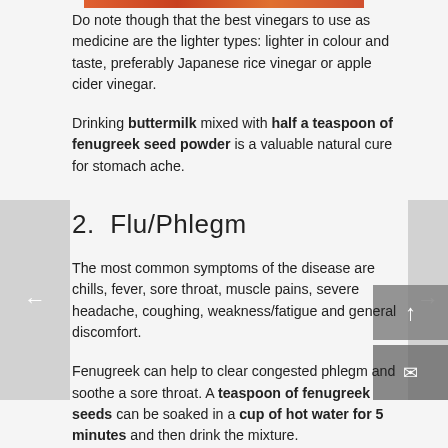[Figure (photo): Top portion of a food/ingredient photo, showing warm orange-red tones, partially cropped]
Do note though that the best vinegars to use as medicine are the lighter types: lighter in colour and taste, preferably Japanese rice vinegar or apple cider vinegar.
Drinking buttermilk mixed with half a teaspoon of fenugreek seed powder is a valuable natural cure for stomach ache.
2.  Flu/Phlegm
The most common symptoms of the disease are chills, fever, sore throat, muscle pains, severe headache, coughing, weakness/fatigue and general discomfort.
Fenugreek can help to clear congested phlegm and soothe a sore throat. A teaspoon of fenugreek seeds can be soaked in a cup of hot water for 5 minutes and then drink the mixture.